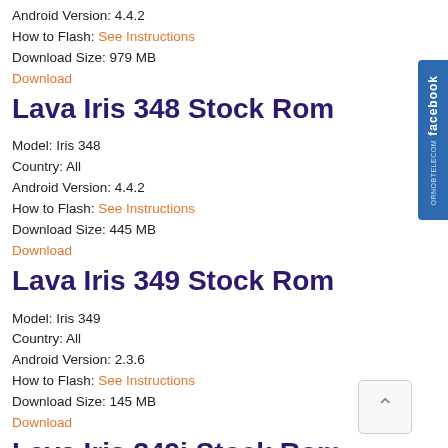Android Version: 4.4.2
How to Flash: See Instructions
Download Size: 979 MB
Download
Lava Iris 348 Stock Rom
Model: Iris 348
Country: All
Android Version: 4.4.2
How to Flash: See Instructions
Download Size: 445 MB
Download
Lava Iris 349 Stock Rom
Model: Iris 349
Country: All
Android Version: 2.3.6
How to Flash: See Instructions
Download Size: 145 MB
Download
Lava Iris 349i Stock Rom